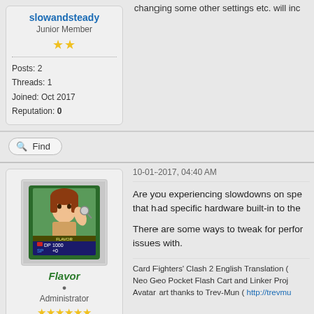slowandsteady
Junior Member
Posts: 2
Threads: 1
Joined: Oct 2017
Reputation: 0
changing some other settings etc. will inc
Find
10-01-2017, 04:40 AM
[Figure (illustration): Pixel art avatar of a female character from a card fighting game with red/brown hair, game card with HP/SP stats shown]
Flavor
Administrator
Posts: 1,596
Threads: 19
Joined: Feb 2012
Reputation: 29
Are you experiencing slowdowns on spe that had specific hardware built-in to the
There are some ways to tweak for perfor issues with.
Card Fighters' Clash 2 English Translation ( Neo Geo Pocket Flash Cart and Linker Proj Avatar art thanks to Trev-Mun ( http://trevmu